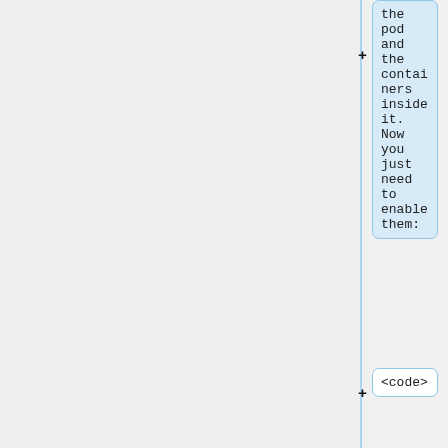the pod and the containers inside it. Now you just need to enable them:
<code>
mv *.service /etc/systemd/system/
systemctl daemon-reload
systemctl enable pod-bbbpod.service